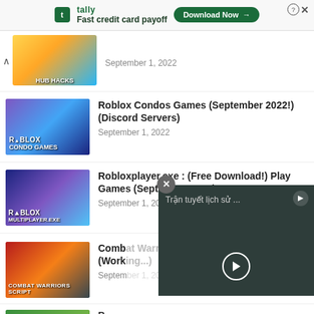[Figure (screenshot): Tally advertisement bar: 'Fast credit card payoff' with Download Now button]
September 1, 2022
[Figure (photo): Roblox Condo Games thumbnail]
Roblox Condos Games (September 2022!) (Discord Servers)
September 1, 2022
[Figure (photo): Roblox Multiplayer EXE thumbnail]
Robloxplayer.exe : (Free Download!) Play Games (September 2022)
September 1, 2022
[Figure (photo): Combat Warriors Script thumbnail]
Combat Warriors Script (Working...)
September ...
[Figure (screenshot): Video overlay with Vietnamese text 'Trận tuyết lịch sử ...' and play button]